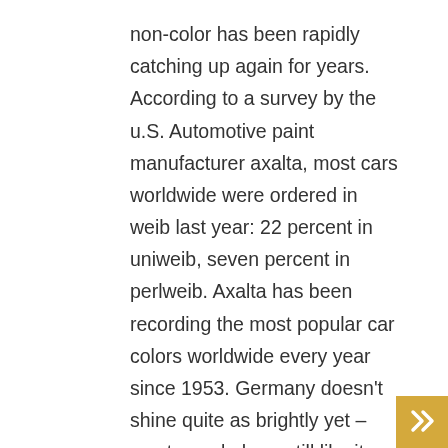non-color has been rapidly catching up again for years. According to a survey by the u.S. Automotive paint manufacturer axalta, most cars worldwide were ordered in weib last year: 22 percent in uniweib, seven percent in perlweib. Axalta has been recording the most popular car colors worldwide every year since 1953. Germany doesn't shine quite as brightly yet – most people here still like it dark and gray. According to figures from the german association of the automotive industry (vda), black was once again at the forefront of new registrations in germany in 2013, accounting for 28.4 percent of all registrations. Silver and gray follow closely behind with a combined 27.9 percent. The retreat of the greys is rapid: